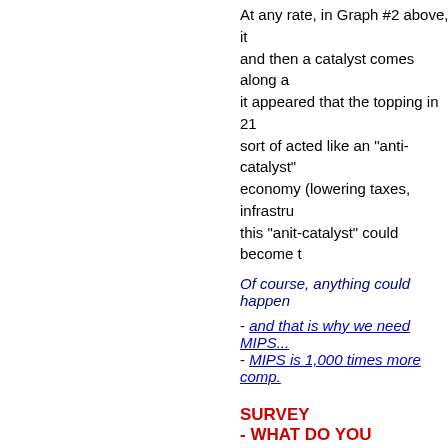At any rate, in Graph #2 above, it and then a catalyst comes along a it appeared that the topping in 21 sort of acted like an "anti-catalyst" economy (lowering taxes, infrastru this "anit-catalyst" could become t
Of course, anything could happen - and that is why we need MIPS... - MIPS is 1,000 times more comp.
SURVEY - WHAT DO YOU THINK???
We are asking all MIPS Members with all.
What is your opinion regarding - please send us your best guesse
--------------------------------------------------------------------